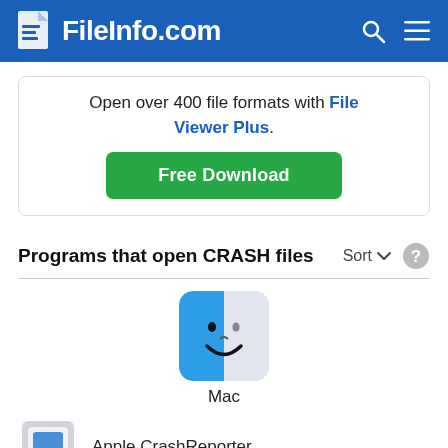FileInfo.com
Open over 400 file formats with File Viewer Plus.
Free Download
Programs that open CRASH files
[Figure (illustration): Mac Finder face icon - blue and white smiley face logo]
Mac
[Figure (illustration): Apple CrashReporter app icon - blue square on grey background]
Apple CrashReporter
[Figure (illustration): Apple Console app icon - dark background with warning text]
Apple Console